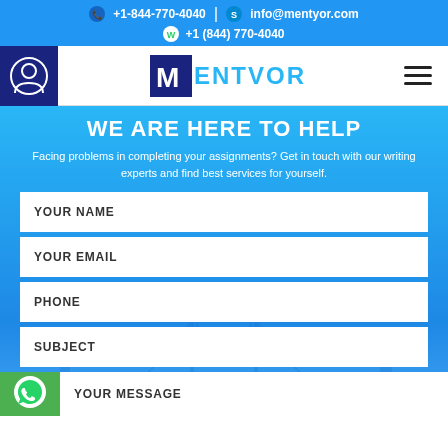+1-844-770-4040 | info@mentyor.com +1 (844) 770-4040
[Figure (logo): Mentyor logo with M icon and user/hamburger nav icons]
WE ARE HERE TO HELP
Facing problems in completing your assignments? Get in touch with our writing experts and find best services for yourself.
YOUR NAME
YOUR EMAIL
PHONE
SUBJECT
YOUR MESSAGE